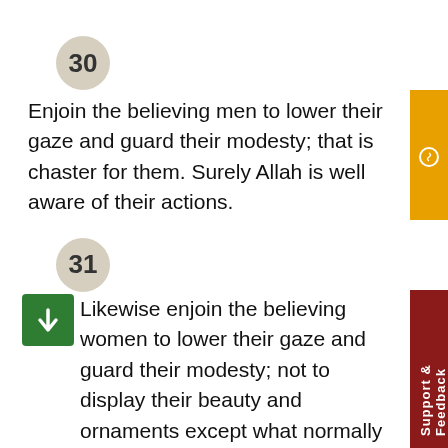30
Enjoin the believing men to lower their gaze and guard their modesty; that is chaster for them. Surely Allah is well aware of their actions.
31
Likewise enjoin the believing women to lower their gaze and guard their modesty; not to display their beauty and ornaments except what normally appears thereof; let them draw their veils over their bosoms and not display their charms except to their husbands, their fathers, their fathers-in-law, their own sons, their stepsons, their own brothers, their nephews on either brothers' or sisters' sides, their own womenfolk, their own slaves, male attendants who lack sexual desires or small children who have no carnal knowledge of women. Also enjoin them not to strike their feet in